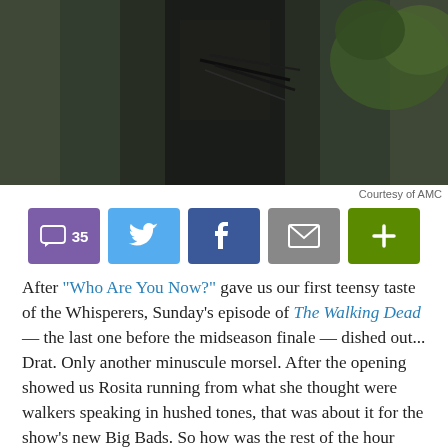[Figure (photo): A person in dark clothing holding crossbow equipment outdoors, partially visible from roughly chest-up, with foliage in background]
Courtesy of AMC
[Figure (infographic): Social sharing bar with buttons: 35 comments (purple), Twitter (blue), Facebook (dark blue), Email (gray), More/Plus (green)]
After "Who Are You Now?" gave us our first teensy taste of the Whisperers, Sunday's episode of The Walking Dead — the last one before the midseason finale — dished out... Drat. Only another minuscule morsel. After the opening showed us Rosita running from what she thought were walkers speaking in hushed tones, that was about it for the show's new Big Bads. So how was the rest of the hour filled, then? By catching us up with B players like Jesus, Tara and Aaron, feeding us backstory on the newbies and their ill-fated friend Bernie, and revealing how, ahem, doggedly Carol was willing to pursue Daryl to be Henry's Hilltop babysitter